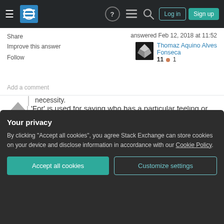[Figure (screenshot): Stack Exchange navigation bar with hamburger menu, logo, help icon, chat icon, search icon, Log in button, and Sign up button]
Share
Improve this answer
Follow
answered Feb 12, 2018 at 11:52
Thomaz Aquino Alves Fonseca
11 1
Add a comment
'For' is used for saying who has a particular feeling or opinion about something. e.g.
For me (always followed by personally) personally, it was a complete disaster.
necessity.
Your privacy
By clicking "Accept all cookies", you agree Stack Exchange can store cookies on your device and disclose information in accordance with our Cookie Policy.
Accept all cookies
Customize settings